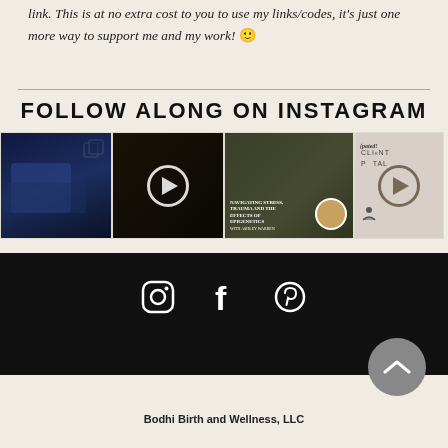link. This is at no extra cost to you to use my links/codes, it's just one more way to support me and my work! 🙂
FOLLOW ALONG ON INSTAGRAM
[Figure (screenshot): Instagram grid showing four photo/video thumbnails: a birth scene, a dark video with play button, a woman in green backdrop with text about managing stress, trauma and epigenetics, and a partial client portal image]
[Figure (infographic): Social media footer bar with Instagram, Facebook, and Pinterest icons in white on black background, plus a scroll-to-top button]
Bodhi Birth and Wellness, LLC